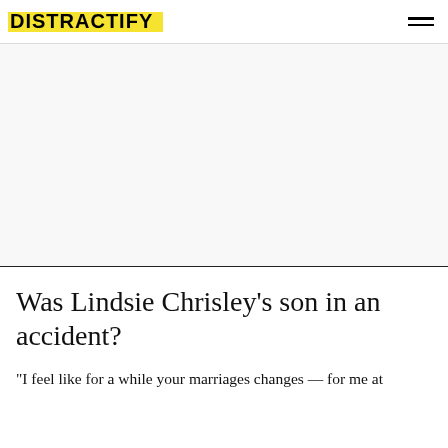DISTRACTIFY
[Figure (other): Advertisement placeholder area, light gray background]
Was Lindsie Chrisley's son in an accident?
"I feel like for a while your marriages changes — for me at